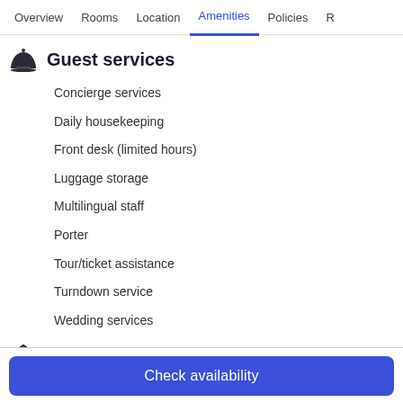Overview | Rooms | Location | Amenities | Policies | R
Guest services
Concierge services
Daily housekeeping
Front desk (limited hours)
Luggage storage
Multilingual staff
Porter
Tour/ticket assistance
Turndown service
Wedding services
Outdoors
BBQ grill(s)
Garden
Check availability